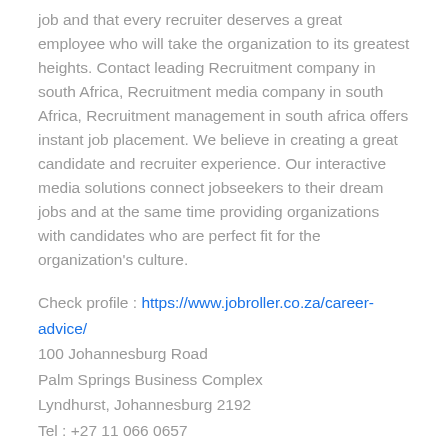job and that every recruiter deserves a great employee who will take the organization to its greatest heights. Contact leading Recruitment company in south Africa, Recruitment media company in south Africa, Recruitment management in south africa offers instant job placement. We believe in creating a great candidate and recruiter experience. Our interactive media solutions connect jobseekers to their dream jobs and at the same time providing organizations with candidates who are perfect fit for the organization's culture.
Check profile : https://www.jobroller.co.za/career-advice/
100 Johannesburg Road
Palm Springs Business Complex
Lyndhurst, Johannesburg 2192
Tel : +27 11 066 0657
Fax :  086 240 7774
info@jobroller.co.za